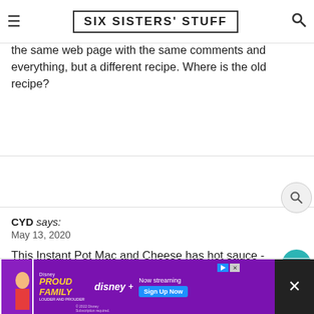SIX SISTERS' STUFF
this but I don't have it memorized, sadly. My family loves the version with the hot sauce. This is the same web page with the same comments and everything, but a different recipe. Where is the old recipe?
CYD says:
May 13, 2020

This Instant Pot Mac and Cheese has hot sauce - https://www.sixsistersstuff.com/recipe/instant-pot-lobster-mac-and-cheese/ Did it have lobster in it? Maybe you could just leave it out if it didn't.
[Figure (screenshot): Bottom advertisement banner for Disney+ The Proud Family show with purple background, Sign Up Now button, and close X button]